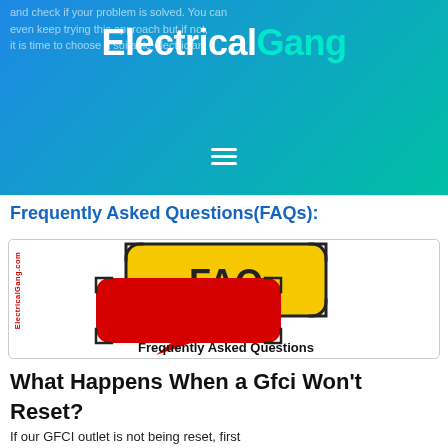and check if your problem is solved. You can even keep trying this approach but if not, it is time to choose a suitable electrician.
ElectricalGang
[Figure (logo): ElectricalGang website logo with white 'Electrical' and teal 'Gang' text on gradient blue-teal background]
Frequently Asked Questions(FAQs):
[Figure (illustration): FAQ illustration showing a yellow speech bubble with 'FAQ' text and a red speech bubble below it, with 'Frequently Asked Questions' text underneath. ElectricalGang.com watermark on the left side.]
What Happens When a Gfci Won't Reset?
If our GFCI outlet is not being reset, first